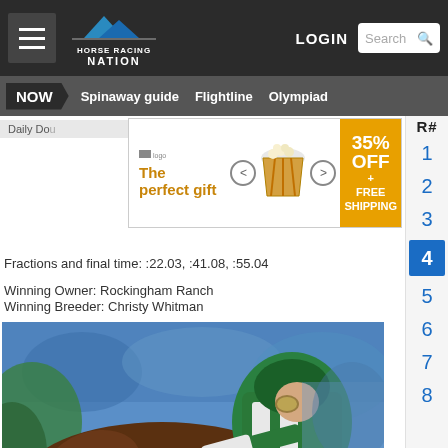Horse Racing Nation - NOW | Spinaway guide | Flightline | Olympiad | LOGIN | Search
Daily Do...
[Figure (other): Advertisement banner: 'The perfect gift' with popcorn bowl image, navigation arrows, and 35% OFF + FREE SHIPPING offer]
Fractions and final time: :22.03, :41.08, :55.04
Winning Owner: Rockingham Ranch
Winning Breeder: Christy Whitman
[Figure (photo): Close-up action photo of a horse race, showing a brown horse with blue blinders and a jockey wearing green and white silks with green helmet, crowd blurred in background]